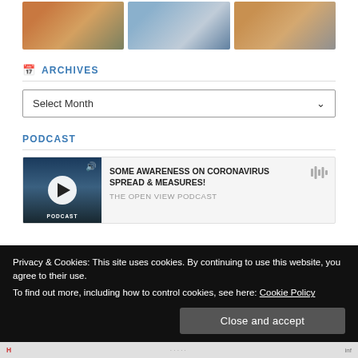[Figure (photo): Three thumbnail photos in a row: group of people in colorful attire, electric vehicle charging, person on steps]
ARCHIVES
[Figure (other): Select Month dropdown control]
PODCAST
[Figure (other): Podcast card: SOME AWARENESS ON CORONAVIRUS SPREAD & MEASURES! - THE OPEN VIEW PODCAST, with play button thumbnail]
Privacy & Cookies: This site uses cookies. By continuing to use this website, you agree to their use.
To find out more, including how to control cookies, see here: Cookie Policy
Close and accept